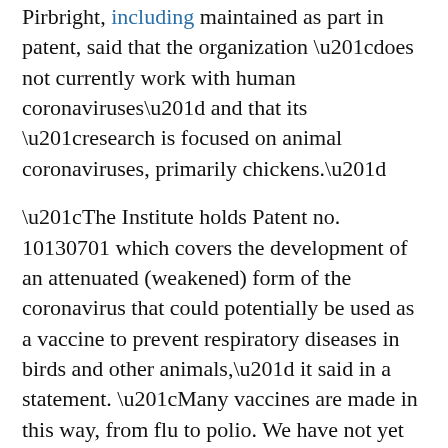Pirbright, [link: including] maintained as part in patent, said that the organization “does not currently work with human coronaviruses” and that its “research is focused on animal coronaviruses, primarily chickens.”
“The Institute holds Patent no. 10130701 which covers the development of an attenuated (weakened) form of the coronavirus that could potentially be used as a vaccine to prevent respiratory diseases in birds and other animals,” it said in a statement. “Many vaccines are made in this way, from flu to polio. We have not yet developed an IBV vaccine, but research is ongoing.”
Pirbright has [link: received] continued funding from the Gates Foundation, [link: including] for its Livestock Antibody Hub, but said its “patented work was not funded” by the foundation.
The Gates Foundation mentioned being a part...